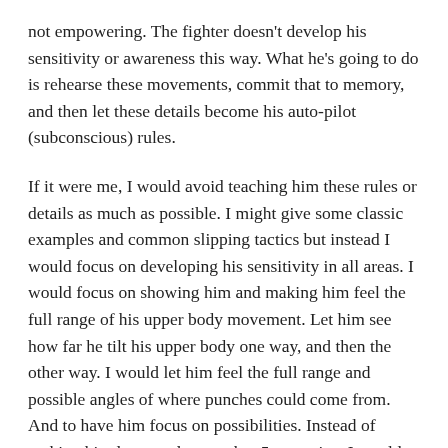not empowering. The fighter doesn't develop his sensitivity or awareness this way. What he's going to do is rehearse these movements, commit that to memory, and then let these details become his auto-pilot (subconscious) rules.
If it were me, I would avoid teaching him these rules or details as much as possible. I might give some classic examples and common slipping tactics but instead I would focus on developing his sensitivity in all areas. I would focus on showing him and making him feel the full range of his upper body movement. Let him see how far he tilt his upper body one way, and then the other way. I would let him feel the full range and possible angles of where punches could come from. And to have him focus on possibilities. Instead of making him learn and remember 5 scenarios, I would rather him feel the limitless possibilities of the